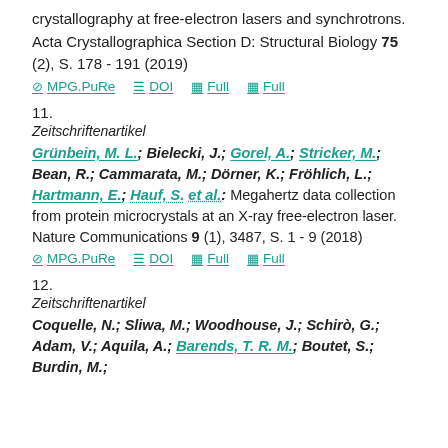crystallography at free-electron lasers and synchrotrons. Acta Crystallographica Section D: Structural Biology 75 (2), S. 178 - 191 (2019)
MPG.PuRe   DOI   Full   Full
11.
Zeitschriftenartikel
Grünbein, M. L.; Bielecki, J.; Gorel, A.; Stricker, M.; Bean, R.; Cammarata, M.; Dörner, K.; Fröhlich, L.; Hartmann, E.; Hauf, S. et al.: Megahertz data collection from protein microcrystals at an X-ray free-electron laser. Nature Communications 9 (1), 3487, S. 1 - 9 (2018)
MPG.PuRe   DOI   Full   Full
12.
Zeitschriftenartikel
Coquelle, N.; Sliwa, M.; Woodhouse, J.; Schirò, G.; Adam, V.; Aquila, A.; Barends, T. R. M.; Boutet, S.; Burdin, M.;